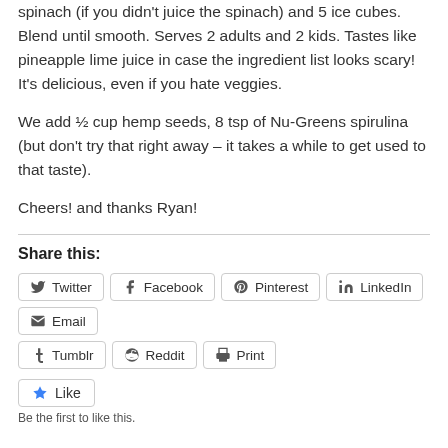spinach (if you didn't juice the spinach) and 5 ice cubes. Blend until smooth. Serves 2 adults and 2 kids. Tastes like pineapple lime juice in case the ingredient list looks scary! It's delicious, even if you hate veggies.
We add ½ cup hemp seeds, 8 tsp of Nu-Greens spirulina (but don't try that right away – it takes a while to get used to that taste).
Cheers! and thanks Ryan!
Share this:
Twitter Facebook Pinterest LinkedIn Email Tumblr Reddit Print
Like
Be the first to like this.